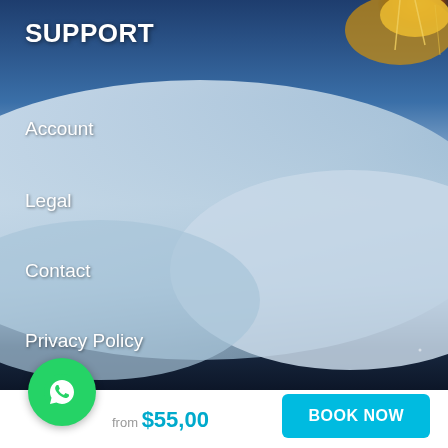[Figure (photo): Background photo of sandy/snowy dunes with blue tones and a golden ornament/chandelier in the top right corner, lower half showing deep dark night sky with scattered stars]
SUPPORT
Account
Legal
Contact
Privacy Policy
USEFUL PAGES
Deals
FAQs
Why Choose Us
[Figure (other): Green circular WhatsApp button icon]
from $55,00
BOOK NOW